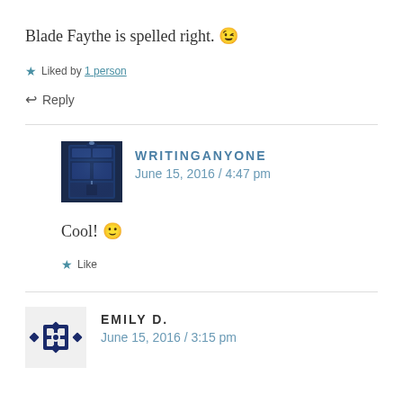Blade Faythe is spelled right. 😉
★ Liked by 1 person
↩ Reply
WRITINGANYONE
June 15, 2016 / 4:47 pm
Cool! 🙂
★ Like
EMILY D.
June 15, 2016 / 3:15 pm